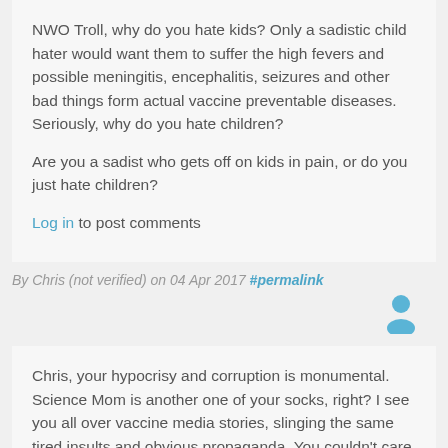NWO Troll, why do you hate kids? Only a sadistic child hater would want them to suffer the high fevers and possible meningitis, encephalitis, seizures and other bad things form actual vaccine preventable diseases. Seriously, why do you hate children?

Are you a sadist who gets off on kids in pain, or do you just hate children?

Log in to post comments
By Chris (not verified) on 04 Apr 2017 #permalink
Chris, your hypocrisy and corruption is monumental. Science Mom is another one of your socks, right? I see you all over vaccine media stories, slinging the same tired insults and obvious propaganda. You couldn't care less about the well-being of children.